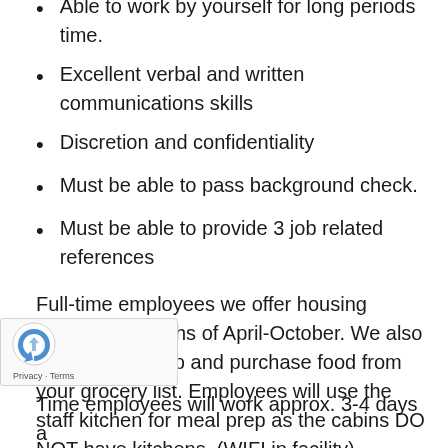Able to work by yourself for long periods time.
Excellent verbal and written communications skills
Discretion and confidentiality
Must be able to pass background check.
Must be able to provide 3 job related references
Full-time employees we offer housing during the months of April-October. We also will grocery shop and purchase food from your grocery list. Employees will use the staff kitchen for meal prep as the cabins DO NOT have kitchens. (WIFI in facility).
Time employees will work approx. 3-4 days a